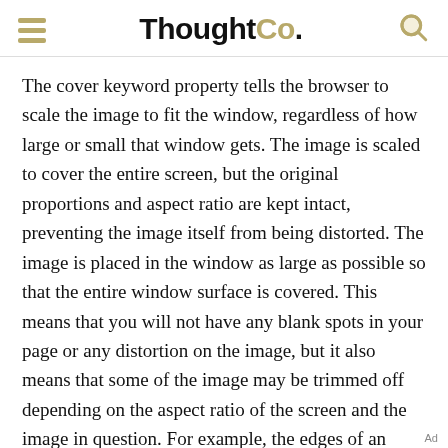ThoughtCo.
The cover keyword property tells the browser to scale the image to fit the window, regardless of how large or small that window gets. The image is scaled to cover the entire screen, but the original proportions and aspect ratio are kept intact, preventing the image itself from being distorted. The image is placed in the window as large as possible so that the entire window surface is covered. This means that you will not have any blank spots in your page or any distortion on the image, but it also means that some of the image may be trimmed off depending on the aspect ratio of the screen and the image in question. For example, the edges of an image (either top, bottom, left, or right) may be cut off on the images, dependin-
Ad